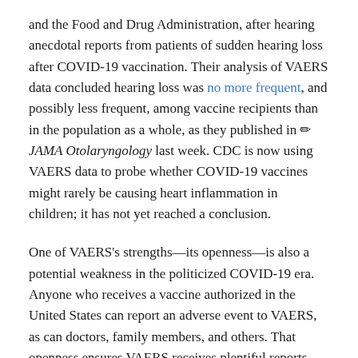and the Food and Drug Administration, after hearing anecdotal reports from patients of sudden hearing loss after COVID-19 vaccination. Their analysis of VAERS data concluded hearing loss was no more frequent, and possibly less frequent, among vaccine recipients than in the population as a whole, as they published in ✏ JAMA Otolaryngology last week. CDC is now using VAERS data to probe whether COVID-19 vaccines might rarely be causing heart inflammation in children; it has not yet reached a conclusion.
One of VAERS's strengths—its openness—is also a potential weakness in the politicized COVID-19 era. Anyone who receives a vaccine authorized in the United States can report an adverse event to VAERS, as can doctors, family members, and others. That openness ensures VAERS receives plentiful reports—228,000 for COVID-19 vaccines alone since December 2020, more than four times the number received in all of last year for all vaccines.
Some worry this might make it easy to post false reports. But CDC removes data that are clearly false, such as a recent report…